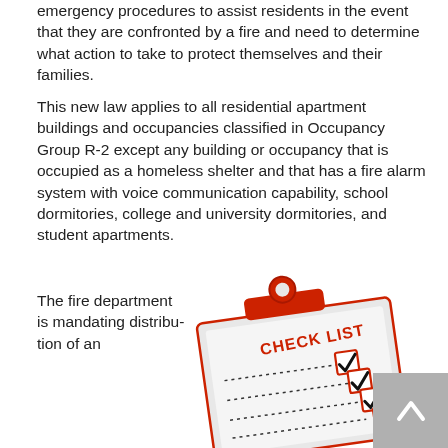emergency procedures to assist residents in the event that they are confronted by a fire and need to determine what action to take to protect themselves and their families.
This new law applies to all residential apartment buildings and occupancies classified in Occupancy Group R-2 except any building or occupancy that is occupied as a homeless shelter and that has a fire alarm system with voice communication capability, school dormitories, college and university dormitories, and student apartments.
The fire department is mandating distribution of an
[Figure (illustration): A red clipboard with a white checklist paper showing CHECK LIST text in red and three checkboxes with red checkmarks, connected by dotted lines.]